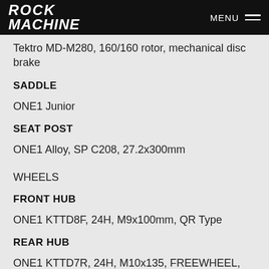ROCK MACHINE | MENU
Tektro MD-M280, 160/160 rotor, mechanical disc brake
SADDLE
ONE1 Junior
SEAT POST
ONE1 Alloy, SP C208, 27.2x300mm
WHEELS
FRONT HUB
ONE1 KTTD8F, 24H, M9x100mm, QR Type
REAR HUB
ONE1 KTTD7R, 24H, M10x135, FREEWHEEL, QR